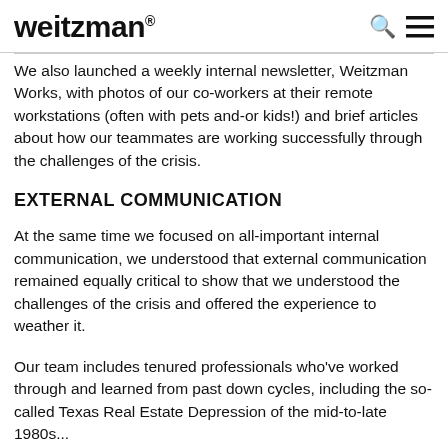weitzman®
We also launched a weekly internal newsletter, Weitzman Works, with photos of our co-workers at their remote workstations (often with pets and-or kids!) and brief articles about how our teammates are working successfully through the challenges of the crisis.
EXTERNAL COMMUNICATION
At the same time we focused on all-important internal communication, we understood that external communication remained equally critical to show that we understood the challenges of the crisis and offered the experience to weather it.
Our team includes tenured professionals who've worked through and learned from past down cycles, including the so-called Texas Real Estate Depression of the mid-to-late 1980s...